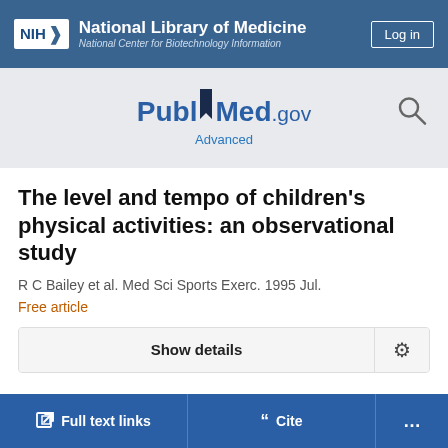NIH National Library of Medicine National Center for Biotechnology Information
[Figure (logo): PubMed.gov logo with bookmark icon and search magnifier]
The level and tempo of children's physical activities: an observational study
R C Bailey et al. Med Sci Sports Exerc. 1995 Jul.
Free article
Show details
Full text links  Cite  ...